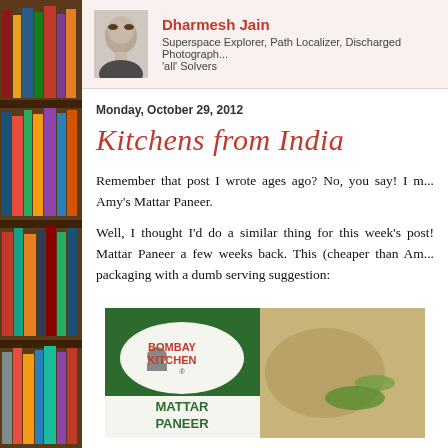[Figure (photo): Bookshelf on the left side with colorful books stacked vertically]
[Figure (photo): Author headshot - Dharmesh Jain, a man with black hair]
Dharmesh Jain
Superspace Explorer, Path Localizer, Discharged Photographer, 'all' Solvers
Monday, October 29, 2012
Kitchens from India
Remember that post I wrote ages ago? No, you say! I m... Amy's Mattar Paneer.
Well, I thought I'd do a similar thing for this week's post! Mattar Paneer a few weeks back. This (cheaper than Am... packaging with a dumb serving suggestion:
[Figure (photo): Bombay Kitchen Mattar Paneer product packaging]